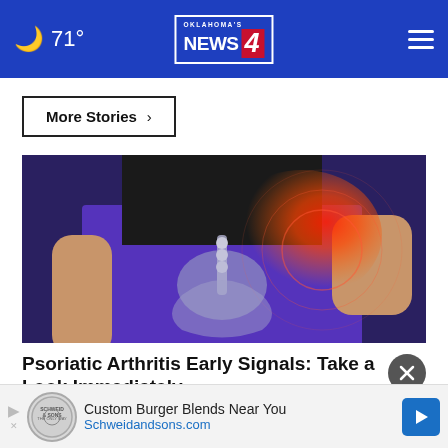🌙 71° — Oklahoma's News 4 — Navigation menu
More Stories ›
[Figure (photo): Medical illustration of a person in purple leggings with a glowing red hip joint overlay indicating psoriatic arthritis pain area]
Psoriatic Arthritis Early Signals: Take a Look Immediately
Custom Burger Blends Near You
Schweidandsons.com